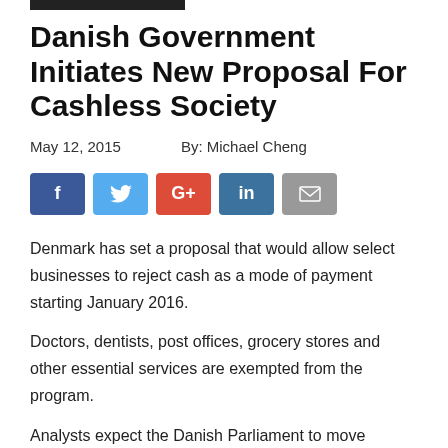Danish Government Initiates New Proposal For Cashless Society
May 12, 2015        By: Michael Cheng
[Figure (infographic): Social sharing buttons: Facebook (blue), Twitter (light blue), Google+ (red), LinkedIn (dark blue), Email (gray)]
Denmark has set a proposal that would allow select businesses to reject cash as a mode of payment starting January 2016.
Doctors, dentists, post offices, grocery stores and other essential services are exempted from the program.
Analysts expect the Danish Parliament to move forward